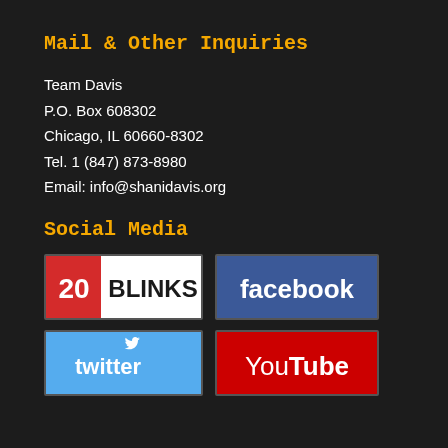Mail & Other Inquiries
Team Davis
P.O. Box 608302
Chicago, IL 60660-8302
Tel. 1 (847) 873-8980
Email: info@shanidavis.org
Social Media
[Figure (logo): 20Blinks logo - red and white]
[Figure (logo): Facebook logo - blue background with white text]
[Figure (logo): Twitter logo - sky blue background with white text and bird icon]
[Figure (logo): YouTube logo - red background with white You Tube text]